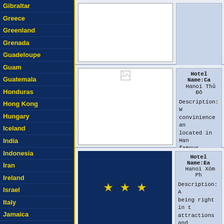Gibraltar
Greece
Greenland
Grenada
Guadeloupe
Guam
Guatemala
Honduras
Hong Kong
Hungary
Iceland
India
Indonesia
Iran
Ireland
Israel
Italy
Jamaica
Japan
Jordan
Kazakstan
Kenya
Kuwait
Latvia
Lebanon
[Figure (photo): Hotel image (partially visible, broken/empty image box at top)]
Hotel Name: Ca... Hanoi Thu Do
Description: W... convinience an... located in Han... famous cultura... and well-furnis...
[Figure (photo): Hotel image with broken image icon]
Hotel Name: Ca... Hanoi Thu Do
Description: W... convinience an... located in Han... famous cultura... and well-furnis...
[Figure (illustration): Dark blue background with three gold stars (3-star hotel rating)]
Hotel Name: Ea... Hanoi Xom Ph...
Description: A... being right in t... attractions and... from historical... Statue of King...
[Figure (photo): Partial hotel image at bottom (cut off)]